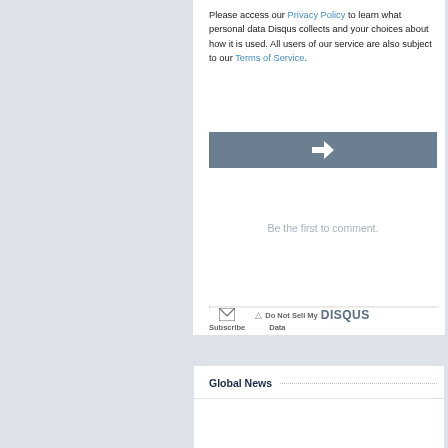Please access our Privacy Policy to learn what personal data Disqus collects and your choices about how it is used. All users of our service are also subject to our Terms of Service.
[Figure (other): Gray button with a white right-pointing arrow]
Be the first to comment.
Subscribe   ⚠ Do Not Sell My DISQUS Data
Global News